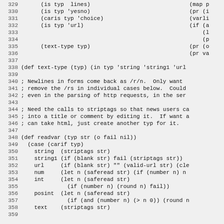[Figure (screenshot): Source code listing in a monospace font showing lines 329-358 of a Lisp/Arc-like program with line numbers on the left and code on the right, on a light grey background.]